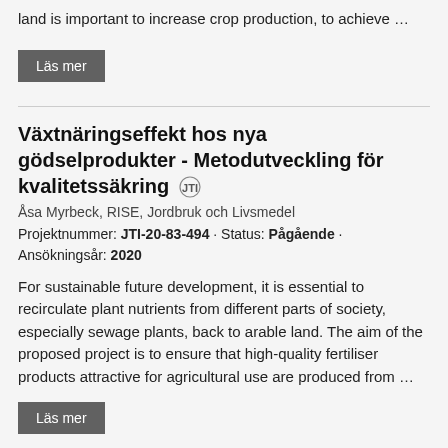land is important to increase crop production, to achieve …
Läs mer
Växtnäringseffekt hos nya gödselprodukter - Metodutveckling för kvalitetssäkring
Åsa Myrbeck, RISE, Jordbruk och Livsmedel
Projektnummer: JTI-20-83-494 • Status: Pågående • Ansökningsår: 2020
For sustainable future development, it is essential to recirculate plant nutrients from different parts of society, especially sewage plants, back to arable land. The aim of the proposed project is to ensure that high-quality fertiliser products attractive for agricultural use are produced from …
Läs mer